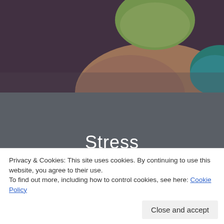[Figure (photo): Close-up photo of a hand holding green and teal colored objects against a dark purple background]
Stress
[Figure (photo): Partial view of a bottom photo, appears to be a water/ocean scene in grayscale]
Privacy & Cookies: This site uses cookies. By continuing to use this website, you agree to their use.
To find out more, including how to control cookies, see here: Cookie Policy
Close and accept